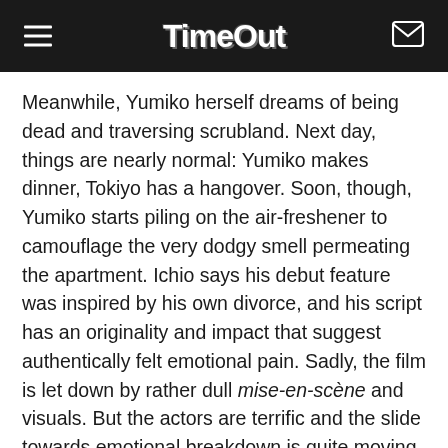TimeOut
Meanwhile, Yumiko herself dreams of being dead and traversing scrubland. Next day, things are nearly normal: Yumiko makes dinner, Tokiyo has a hangover. Soon, though, Yumiko starts piling on the air-freshener to camouflage the very dodgy smell permeating the apartment. Ichio says his debut feature was inspired by his own divorce, and his script has an originality and impact that suggest authentically felt emotional pain. Sadly, the film is let down by rather dull mise-en-scène and visuals. But the actors are terrific and the slide towards emotional breakdown is quite moving. A love story, then, but with a dripping tap and a nagging bad smell.
Written by TR Monday 10 September 2012